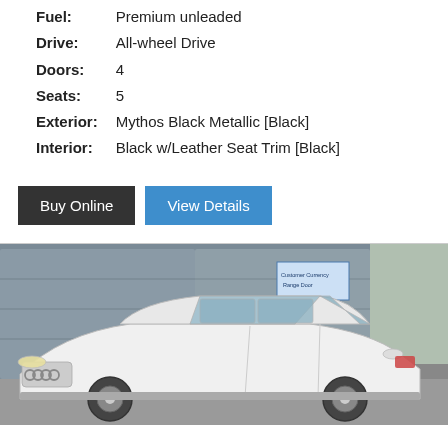| Fuel: | Premium unleaded |
| Drive: | All-wheel Drive |
| Doors: | 4 |
| Seats: | 5 |
| Exterior: | Mythos Black Metallic [Black] |
| Interior: | Black w/Leather Seat Trim [Black] |
Buy Online | View Details
[Figure (photo): White Audi station wagon/wagon parked in front of a grey garage door. A dealership sign is visible in the background.]